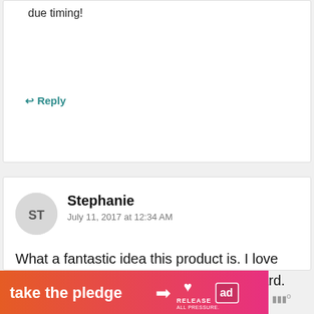due timing!
↩ Reply
Stephanie
July 11, 2017 at 12:34 AM
What a fantastic idea this product is. I love that it can be used from 10 months onward.
↩ Reply
[Figure (infographic): Ad banner: 'take the pledge' with arrow, Release logo and ad icon on orange-pink gradient background]